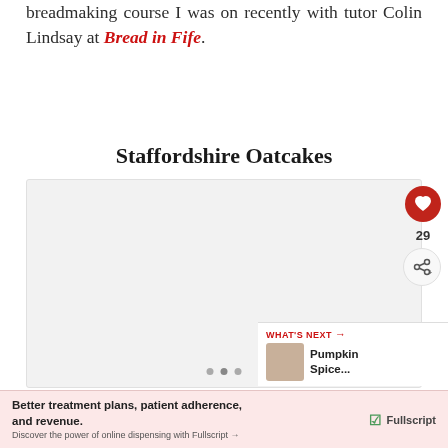breadmaking course I was on recently with tutor Colin Lindsay at Bread in Fife.
Staffordshire Oatcakes
[Figure (photo): Photograph area showing Staffordshire Oatcakes with a like button (heart icon, red), like count (29), and a share button overlaid on the right side. Three dot pagination indicators at bottom.]
WHAT'S NEXT → Pumpkin Spice...
Better treatment plans, patient adherence, and revenue. Discover the power of online dispensing with Fullscript →